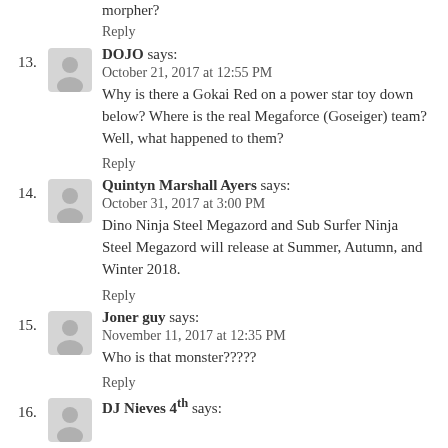morpher?
Reply
DOJO says:
October 21, 2017 at 12:55 PM
Why is there a Gokai Red on a power star toy down below? Where is the real Megaforce (Goseiger) team? Well, what happened to them?
Reply
Quintyn Marshall Ayers says:
October 31, 2017 at 3:00 PM
Dino Ninja Steel Megazord and Sub Surfer Ninja Steel Megazord will release at Summer, Autumn, and Winter 2018.
Reply
Joner guy says:
November 11, 2017 at 12:35 PM
Who is that monster?????
Reply
16. DJ Nieves 4th says: